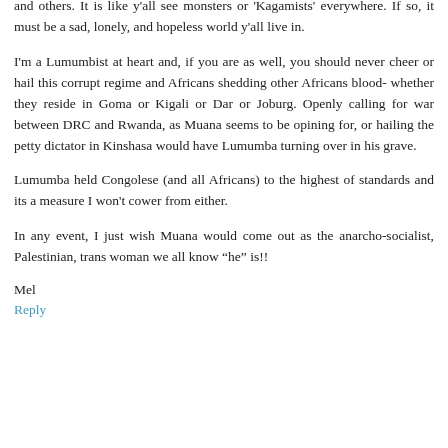and others. It is like y'all see monsters or 'Kagamists' everywhere. If so, it must be a sad, lonely, and hopeless world y'all live in.
I'm a Lumumbist at heart and, if you are as well, you should never cheer or hail this corrupt regime and Africans shedding other Africans blood- whether they reside in Goma or Kigali or Dar or Joburg. Openly calling for war between DRC and Rwanda, as Muana seems to be opining for, or hailing the petty dictator in Kinshasa would have Lumumba turning over in his grave.
Lumumba held Congolese (and all Africans) to the highest of standards and its a measure I won't cower from either.
In any event, I just wish Muana would come out as the anarcho-socialist, Palestinian, trans woman we all know “he” is!!
Mel
Reply